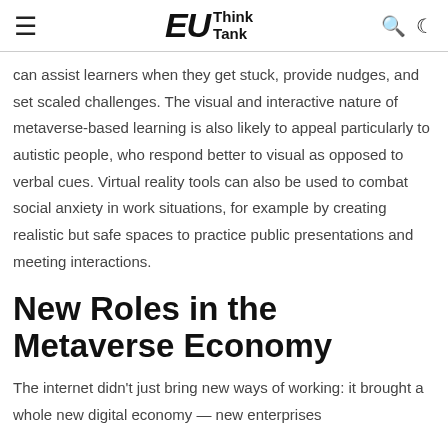EU Think Tank
can assist learners when they get stuck, provide nudges, and set scaled challenges. The visual and interactive nature of metaverse-based learning is also likely to appeal particularly to autistic people, who respond better to visual as opposed to verbal cues. Virtual reality tools can also be used to combat social anxiety in work situations, for example by creating realistic but safe spaces to practice public presentations and meeting interactions.
New Roles in the Metaverse Economy
The internet didn't just bring new ways of working: it brought a whole new digital economy — new enterprises